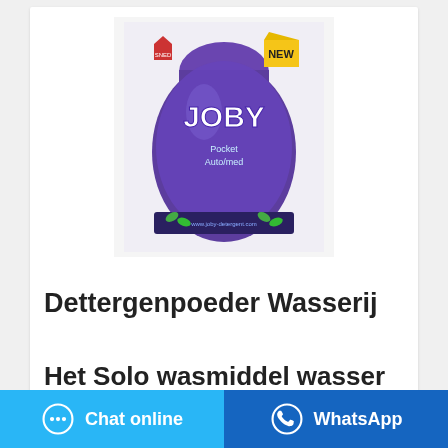[Figure (photo): Product photo of Joby Dettergenpoeder Wasserij laundry detergent powder packet, purple/blue color with 'NEW' yellow badge, shown on white/light background.]
Dettergenpoeder Wasserij
Het Solo wasmiddel wasser...
Chat online
WhatsApp